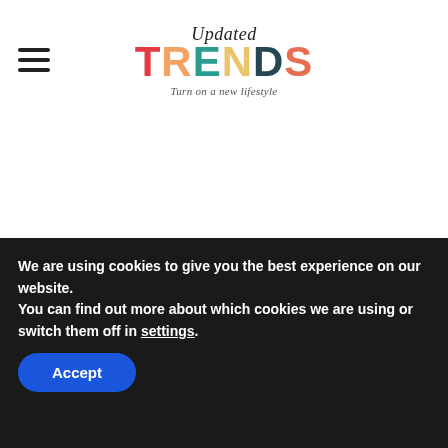Updated TRENDS – Turn on a new lifestyle
[Figure (photo): Blank/white photo area showing no visible image content]
Solange Knowles with her voluptuous hair
Photo Credit
We are using cookies to give you the best experience on our website.
You can find out more about which cookies we are using or switch them off in settings.
Accept